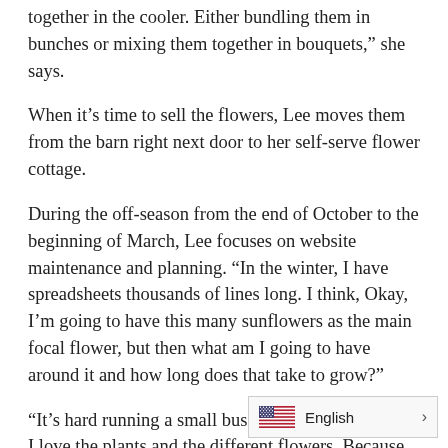together in the cooler. Either bundling them in bunches or mixing them together in bouquets,” she says.
When it’s time to sell the flowers, Lee moves them from the barn right next door to her self-serve flower cottage.
During the off-season from the end of October to the beginning of March, Lee focuses on website maintenance and planning. “In the winter, I have spreadsheets thousands of lines long. I think, Okay, I’m going to have this many sunflowers as the main focal flower, but then what am I going to have around it and how long does that take to grow?”
“It’s hard running a small business, but I enjoy that. I love the plants and the different flowers. Because I’m sharing, I get to grow more than what I would if I were just growing for myself. It’s fun to try all these different things. I love the beauty of it. I love how happy people are,